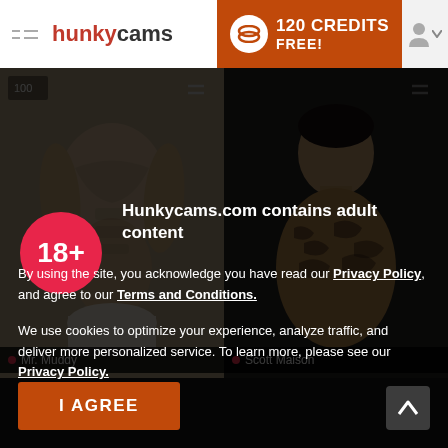hunkycams — 120 CREDITS FREE!
[Figure (screenshot): Two male model photos side by side: left shows muscular torso, right shows tattooed man. Name labels below: 'Mr. Muddy' and 'Scott Maison'.]
Mr. Muddy
Scott Maison
18+
Hunkycams.com contains adult content
By using the site, you acknowledge you have read our Privacy Policy, and agree to our Terms and Conditions.
We use cookies to optimize your experience, analyze traffic, and deliver more personalized service. To learn more, please see our Privacy Policy.
I AGREE